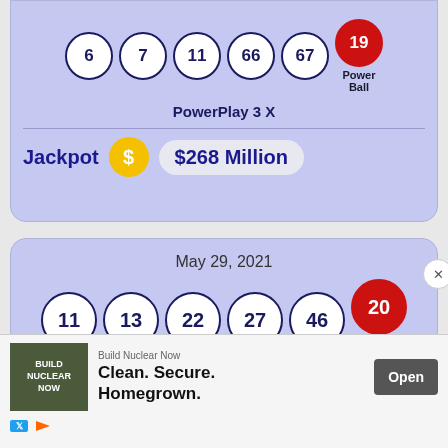[Figure (other): Powerball lottery result card showing numbers 6, 7, 11, 66, 67 and red Powerball 19, with PowerPlay 3X and Jackpot $268 Million]
[Figure (other): Powerball lottery result card for May 29, 2021 showing numbers 11, 13, 22, 27, 46 and red Powerball 20, with PowerPlay 2X]
[Figure (other): Advertisement overlay for Build Nuclear Now: Clean. Secure. Homegrown. with Open button]